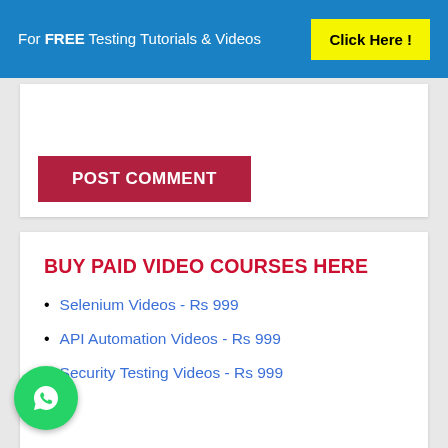For FREE Testing Tutorials & Videos  Click Here !
POST COMMENT
BUY PAID VIDEO COURSES HERE
Selenium Videos - Rs 999
API Automation Videos - Rs 999
Security Testing Videos - Rs 999
[Figure (illustration): Green WhatsApp chat icon button (circular)]
FREE FULL VIDEO COURSES HERE